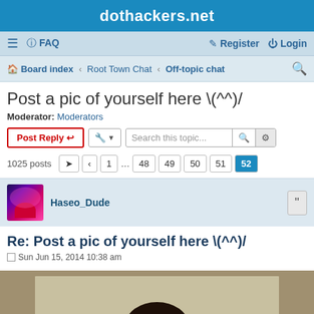dothackers.net
≡  FAQ    Register  Login
Board index › Root Town Chat › Off-topic chat
Post a pic of yourself here \(^^)/
Moderator: Moderators
Post Reply | Tools | Search this topic...
1025 posts  1 ... 48 49 50 51 52
Haseo_Dude
Re: Post a pic of yourself here \(^^)/
Sun Jun 15, 2014 10:38 am
[Figure (photo): User photo - partial selfie showing top of head with dark hair against a light wall background]